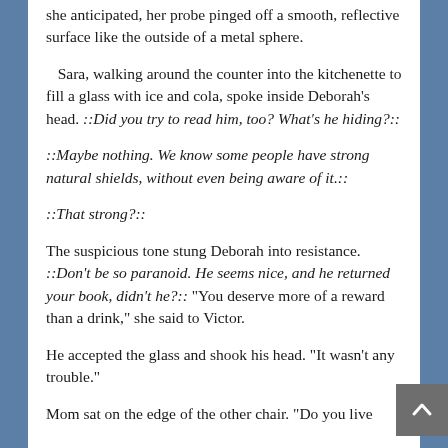instead of the buzzing cloud of mundane thoughts she anticipated, her probe pinged off a smooth, reflective surface like the outside of a metal sphere.
Sara, walking around the counter into the kitchenette to fill a glass with ice and cola, spoke inside Deborah’s head. ::Did you try to read him, too? What’s he hiding?::
::Maybe nothing. We know some people have strong natural shields, without even being aware of it.::
::That strong?::
The suspicious tone stung Deborah into resistance. ::Don’t be so paranoid. He seems nice, and he returned your book, didn’t he?:: “You deserve more of a reward than a drink,” she said to Victor.
He accepted the glass and shook his head. “It wasn’t any trouble.”
Mom sat on the edge of the other chair. “Do you live